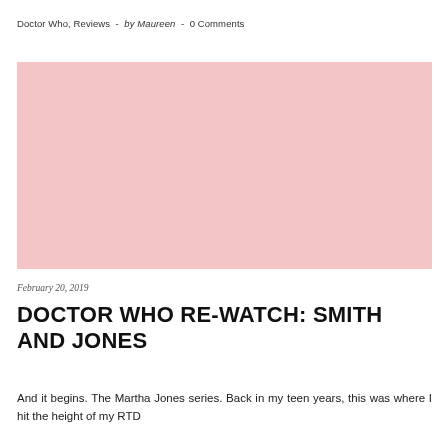Doctor Who, Reviews  -  by Maureen  -  0 Comments
[Figure (photo): Pink/light red placeholder image for Doctor Who Re-Watch: Smith and Jones article]
February 20, 2019
DOCTOR WHO RE-WATCH: SMITH AND JONES
And it begins. The Martha Jones series. Back in my teen years, this was where I hit the height of my RTD